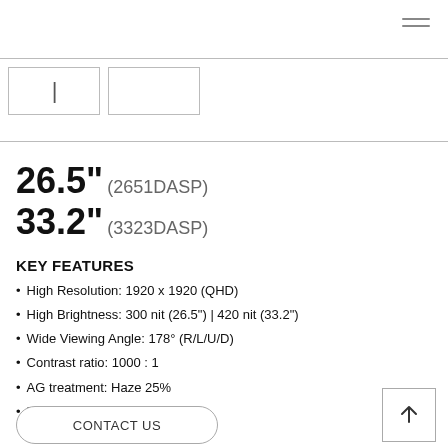[Figure (other): Hamburger menu icon top right corner]
[Figure (other): Top navigation/image area with two tab boxes containing a cursor line]
26.5" (2651DASP)
33.2" (3323DASP)
KEY FEATURES
High Resolution: 1920 x 1920 (QHD)
High Brightness: 300 nit (26.5") | 420 nit (33.2")
Wide Viewing Angle: 178° (R/L/U/D)
Contrast ratio: 1000 : 1
AG treatment: Haze 25%
Mini HDMI In and Micro USB In
CONTACT US
[Figure (other): Scroll to top arrow button, bottom right]